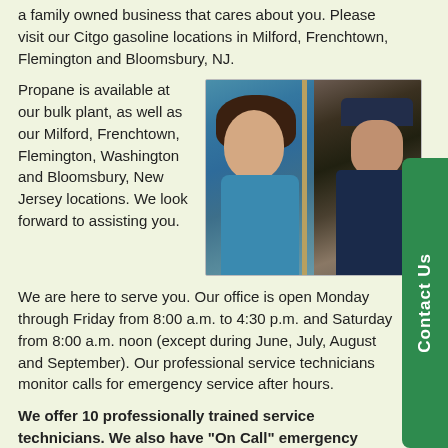a family owned business that cares about you. Please visit our Citgo gasoline locations in Milford, Frenchtown, Flemington and Bloomsbury, NJ.
Propane is available at our bulk plant, as well as our Milford, Frenchtown, Flemington, Washington and Bloomsbury, New Jersey locations. We look forward to assisting you.
[Figure (photo): A smiling woman at a door greeting a male service technician in a navy uniform and cap]
We are here to serve you. Our office is open Monday through Friday from 8:00 a.m. to 4:30 p.m. and Saturday from 8:00 a.m. noon (except during June, July, August and September). Our professional service technicians monitor calls for emergency service after hours.
We offer 10 professionally trained service technicians. We also have "On Call" emergency service available.